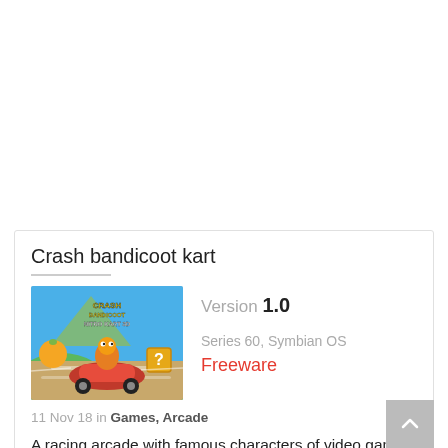Crash bandicoot kart
[Figure (illustration): Crash Bandicoot Nitro Kart 3D game cover art showing Crash Bandicoot driving a red kart with colorful action background]
Version 1.0
Series 60, Symbian OS
Freeware
11 Nov 18 in Games, Arcade
A racing arcade with famous characters of video games